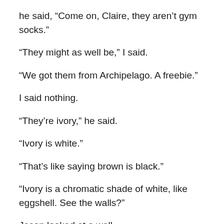he said, “Come on, Claire, they aren’t gym socks.”
“They might as well be,” I said.
“We got them from Archipelago. A freebie.”
I said nothing.
“They’re ivory,” he said.
“Ivory is white.”
“That’s like saying brown is black.”
“Ivory is a chromatic shade of white, like eggshell. See the walls?”
Jason looked at a wall.
“Is it white?” I asked.